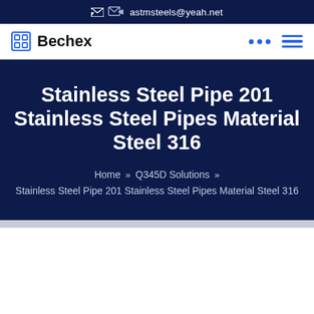astmsteels@yeah.net
[Figure (logo): Bechex logo with square icon and bold text]
Stainless Steel Pipe 201 Stainless Steel Pipes Material Steel 316
Home » Q345D Solutions » Stainless Steel Pipe 201 Stainless Steel Pipes Material Steel 316